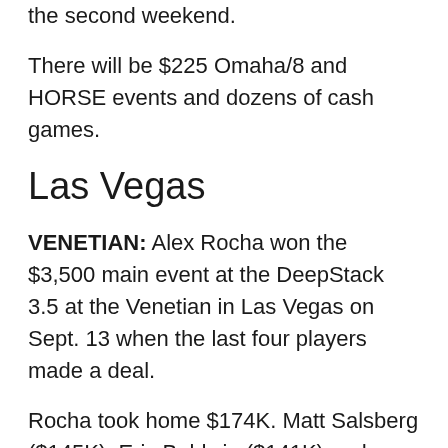…the second weekend.
There will be $225 Omaha/8 and HORSE events and dozens of cash games.
Las Vegas
VENETIAN: Alex Rocha won the $3,500 main event at the DeepStack 3.5 at the Venetian in Las Vegas on Sept. 13 when the last four players made a deal.
Rocha took home $174K. Matt Salsberg ($145K), Eric Baldwin ($141K) and Ryan Tosoc ($125K) were part of the deal. There were 249 players for a $1M prize pool. The Venetian added a $203K…